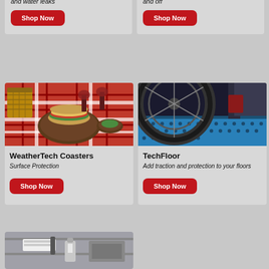Protect floors from fallen tree needles and water leaks
Enhance your style game, on the course and off
[Figure (photo): Picnic scene with sandwich on plate, wicker basket, and red plaid tablecloth with wine glasses]
WeatherTech Coasters
Surface Protection
[Figure (photo): Motorcycle wheel close-up on blue perforated TechFloor garage floor tile]
TechFloor
Add traction and protection to your floors
[Figure (photo): Partial bottom card showing what appears to be a utility or storage area with a bottle]